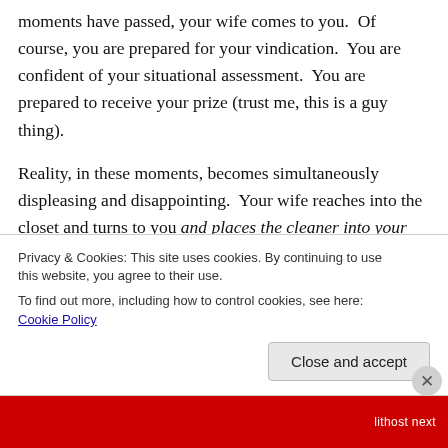moments have passed, your wife comes to you. Of course, you are prepared for your vindication. You are confident of your situational assessment. You are prepared to receive your prize (trust me, this is a guy thing).
Reality, in these moments, becomes simultaneously displeasing and disappointing. Your wife reaches into the closet and turns to you and places the cleaner into your disbelieving hands. She then goes back downstairs while muttering an esteem-destroying narrative which further
Privacy & Cookies: This site uses cookies. By continuing to use this website, you agree to their use.
To find out more, including how to control cookies, see here: Cookie Policy
Close and accept